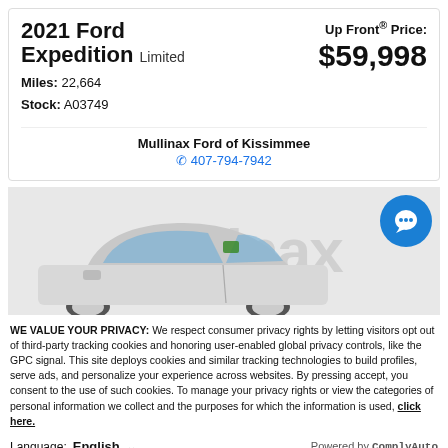2021 Ford Expedition Limited
Miles: 22,664
Stock: A03749
Up Front® Price: $59,998
Mullinax Ford of Kissimmee
407-794-7942
[Figure (photo): White 2021 Ford Expedition SUV photographed in front of a Mullinax dealership backdrop with watermark text]
WE VALUE YOUR PRIVACY: We respect consumer privacy rights by letting visitors opt out of third-party tracking cookies and honoring user-enabled global privacy controls, like the GPC signal. This site deploys cookies and similar tracking technologies to build profiles, serve ads, and personalize your experience across websites. By pressing accept, you consent to the use of such cookies. To manage your privacy rights or view the categories of personal information we collect and the purposes for which the information is used, click here.
Language: English ∨  Powered by ComplyAuto
Accept and Continue →  Privacy Policy  ×